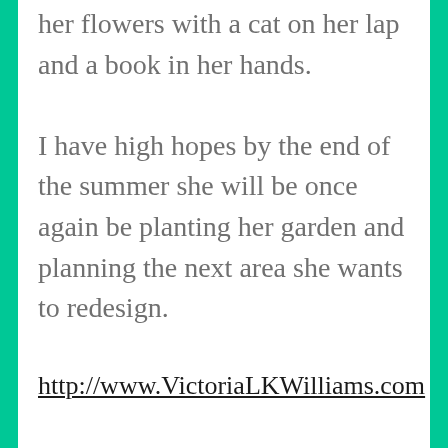her flowers with a cat on her lap and a book in her hands. I have high hopes by the end of the summer she will be once again be planting her garden and planning the next area she wants to redesign.
http://www.VictoriaLKWilliams.com